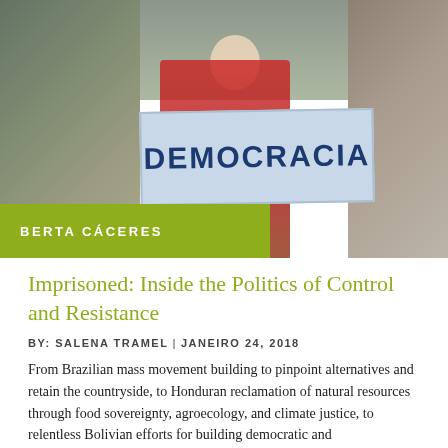[Figure (photo): Protest scene with a person wearing a white face mask holding a light blue sign reading 'DEMOCRACIA' in large dark blue letters. Crowd visible in background. 'BRASIL' text visible on person's shirt.]
BERTA CÁCERES
Imprisoned: Inside the Politics of Control and Resistance
BY: SALENA TRAMEL | JANEIRO 24, 2018
From Brazilian mass movement building to pinpoint alternatives and retain the countryside, to Honduran reclamation of natural resources through food sovereignty, agroecology, and climate justice, to relentless Bolivian efforts for building democratic and